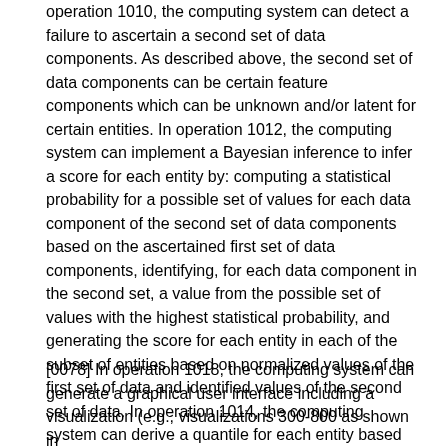operation 1010, the computing system can detect a failure to ascertain a second set of data components. As described above, the second set of data components can be certain feature components which can be unknown and/or latent for certain entities. In operation 1012, the computing system can implement a Bayesian inference to infer a score for each entity by: computing a statistical probability for a possible set of values for each data component of the second set of data components based on the ascertained first set of data components, identifying, for each data component in the second set, a value from the possible set of values with the highest statistical probability, and generating the score for each entity in each of the subset of entities based on normalized values of the first set of data and identified values of the second set of data. In operation 1014, the computing system can derive a quantile for each entity based on the score. In operation 1016, the computing system can rank each entity based on the quantile.
[0078] In operation 1018, the computing system can generate a graphical user interface including a visualization (e.g., visualizations 300-800 as shown in